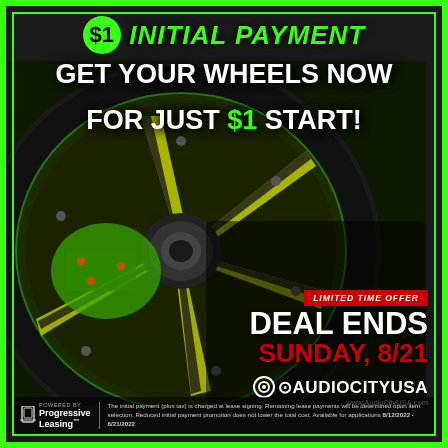$1 INITIAL PAYMENT
GET YOUR WHEELS NOW FOR JUST $1 START!
[Figure (photo): Close-up photo of a custom black and neon green/yellow alloy wheel with green brake caliper visible, mounted on a tire, on a dark background.]
LIMITED TIME OFFER
DEAL ENDS
SUNDAY, 8/21
[Figure (logo): AudioCityUSA logo with circular icon and brand name, www.AudioCityUSA.com]
POWERED BY Progressive Leasing™ The initial payment (plus tax) is charged at lease signing. Remaining lease payments will be determined upon item selection. Reduced initial payment promotion does not lower the total cost. Available for applications 8/12/2022 - 8/21/2022